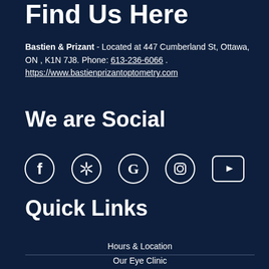Find Us Here
Bastien & Prizant - Located at 447 Cumberland St, Ottawa, ON , K1N 7J8. Phone: 613-236-6066 . https://www.bastienprizantoptometry.com
We are Social
[Figure (infographic): Five social media icons in white outline style: Facebook (f), Yelp (asterisk/flower), Google (G), Instagram (square with circle), YouTube (rectangle with play triangle)]
Quick Links
Hours & Location
Our Eye Clinic